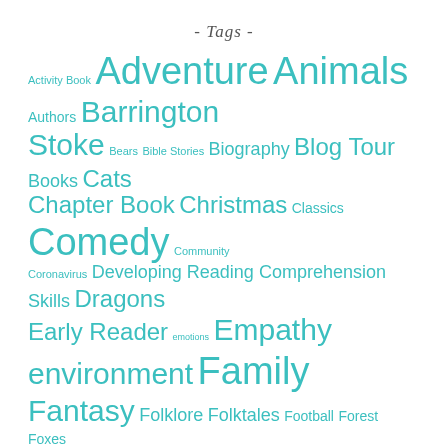- Tags -
[Figure (infographic): Tag cloud of book-related categories in teal/cyan color at various font sizes. Tags include: Activity Book, Adventure, Animals, Authors, Barrington Stoke, Bears, Bible Stories, Biography, Blog Tour, Books, Cats, Chapter Book, Christmas, Classics, Comedy, Community, Coronavirus, Developing Reading Comprehension Skills, Dragons, Early Reader, emotions, Empathy, environment, Family, Fantasy, Folklore, Folktales, Football, Forest, Foxes, Friendship, Geography, Graphic Novel, Grief, Guest Post, Headline, Historical, History, Horror, Illustrated Fiction, Magic, Middle Grade, Monsters, Music, Mystery, Myths & Legends, Nature, Non-fiction, Owls, Picture Book, Picture Books]